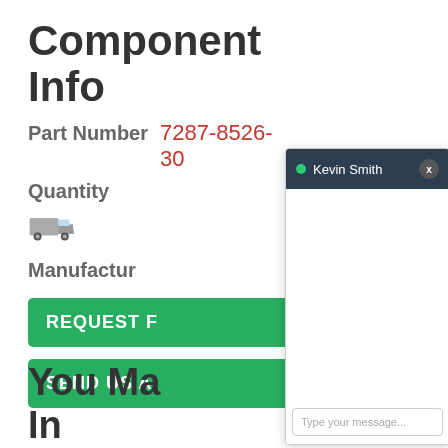Component Info
Part Number  7287-8526-30
Quantity
[Figure (illustration): Truck/shipping icon]
Manufactur...
REQUEST F...
SEND US A...
You May
In
[Figure (screenshot): Live chat widget overlay showing Kevin Smith online, with empty chat body and 'Type your message...' input field]